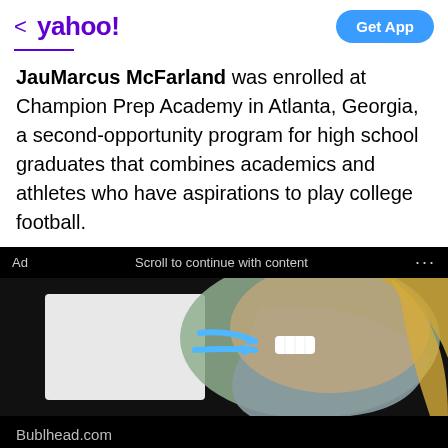< yahoo!  Get App
JauMarcus McFarland was enrolled at Champion Prep Academy in Atlanta, Georgia, a second-opportunity program for high school graduates that combines academics and athletes who have aspirations to play college football.
Ad  Scroll to continue with content  ...
[Figure (photo): Advertisement image showing a person wearing a face mask enhancer with blue arrows indicating airflow]
Bublhead.com
Stay Cool & Dry with This New Mask Enhancer